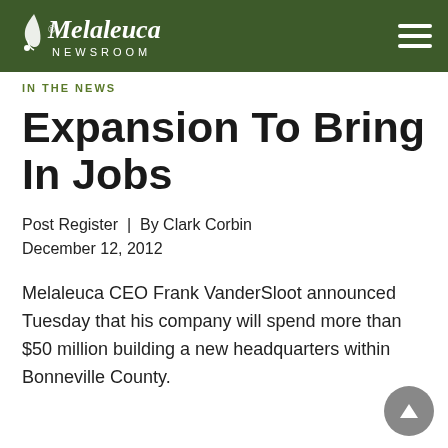Melaleuca NEWSROOM
IN THE NEWS
Expansion To Bring In Jobs
Post Register  |  By Clark Corbin
December 12, 2012
Melaleuca CEO Frank VanderSloot announced Tuesday that his company will spend more than $50 million building a new headquarters within Bonneville County.